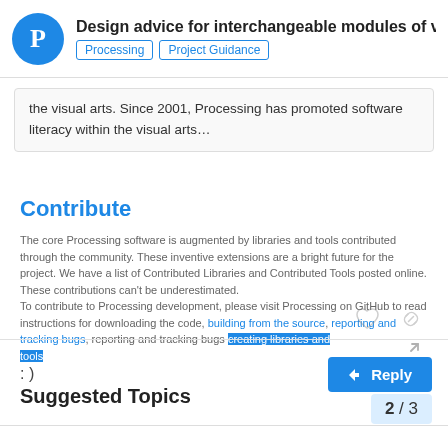Design advice for interchangeable modules of v... | Processing | Project Guidance
the visual arts. Since 2001, Processing has promoted software literacy within the visual arts…
Contribute
The core Processing software is augmented by libraries and tools contributed through the community. These inventive extensions are a bright future for the project. We have a list of Contributed Libraries and Contributed Tools posted online. These contributions can't be underestimated.
To contribute to Processing development, please visit Processing on GitHub to read instructions for downloading the code, building from the source, reporting and tracking bugs, reporting and tracking bugs creating libraries and tools.
: )
Suggested Topics
2 / 3